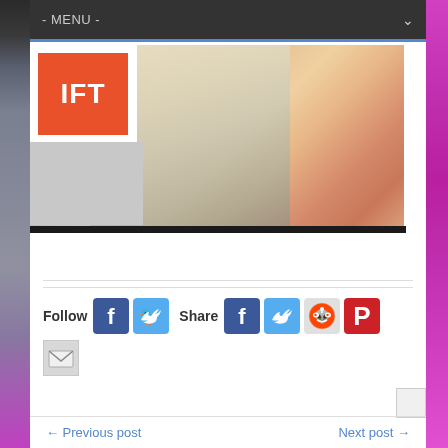- MENU -
[Figure (screenshot): IFT logo (orange square with white IFT text) overlaid on a blurred close-up photo of a blonde person's neck and lips]
Follow   Share
[Figure (infographic): Social media icons: Facebook (Follow), Twitter (Follow), then Share: Facebook, Twitter, Reddit, Pinterest, and an Email/mail icon below]
← Previous post    Next post →